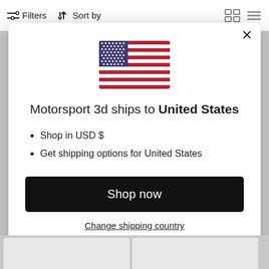Filters  Sort by
[Figure (illustration): US flag SVG illustration inside modal dialog]
Motorsport 3d ships to United States
Shop in USD $
Get shipping options for United States
Shop now
Change shipping country